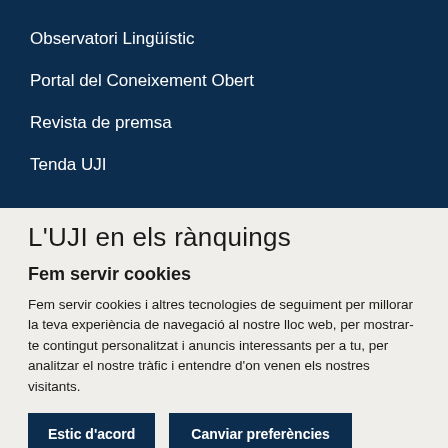Observatori Lingüístic
Portal del Coneixement Obert
Revista de premsa
Tenda UJI
L'UJI en els rànquings
Fem servir cookies
Fem servir cookies i altres tecnologies de seguiment per millorar la teva experiència de navegació al nostre lloc web, per mostrar-te contingut personalitzat i anuncis interessants per a tu, per analitzar el nostre tràfic i entendre d'on venen els nostres visitants.
Estic d'acord
Canviar preferències